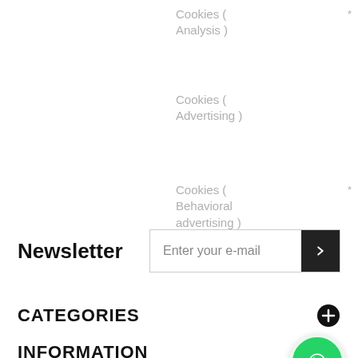Cookies ( Analysis ) *
Cookies ( Advertising )
Cookies ( Behavioral advertising ) *
Newsletter
Enter your e-mail
CATEGORIES
INFORMATION